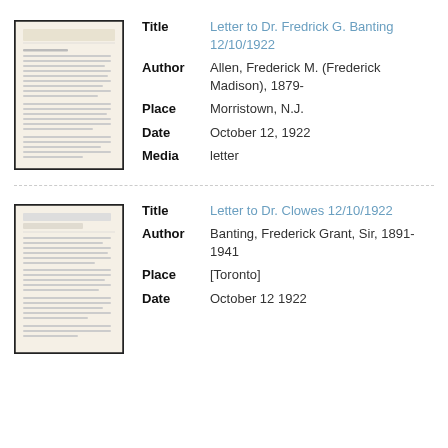[Figure (photo): Thumbnail of a typed letter document, appears aged/yellowed, with text lines visible]
Title: Letter to Dr. Fredrick G. Banting 12/10/1922
Author: Allen, Frederick M. (Frederick Madison), 1879-
Place: Morristown, N.J.
Date: October 12, 1922
Media: letter
[Figure (photo): Thumbnail of a second typed letter document, appears aged, with text lines visible]
Title: Letter to Dr. Clowes 12/10/1922
Author: Banting, Frederick Grant, Sir, 1891-1941
Place: [Toronto]
Date: October 12 1922